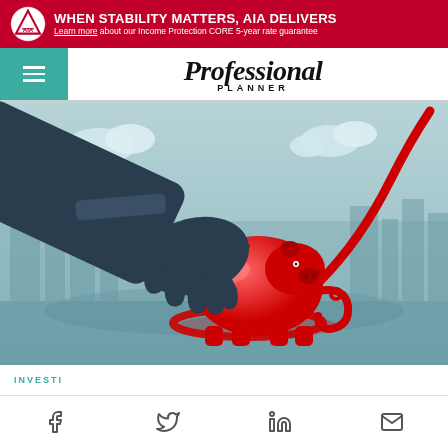[Figure (infographic): AIA advertising banner with red background, AIA logo on left, bold white text: WHEN STABILITY MATTERS, AIA DELIVERS, subtext: Learn more about our Income Protection CORE 5-year rate guarantee]
Professional Planner
[Figure (illustration): Illustration of a large dark hand reaching down toward a red piggy bank with a red cord/rope wrapped around it, against a blue-grey city skyline background with clouds]
INVESTI
[Figure (infographic): Social share bar with icons for Facebook (f), Twitter (bird), LinkedIn (in), and email (envelope)]